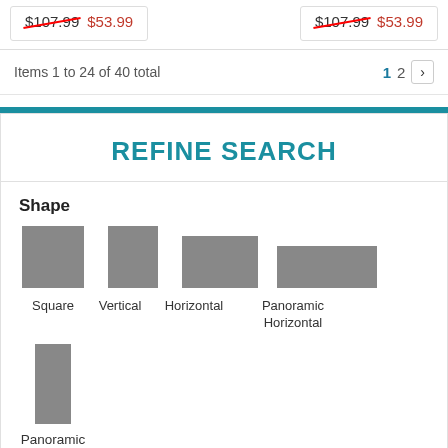$107.99  $53.99   $107.99  $53.99
Items 1 to 24 of 40 total
1  2  >
REFINE SEARCH
Shape
Square  Vertical  Horizontal  Panoramic Horizontal
Panoramic